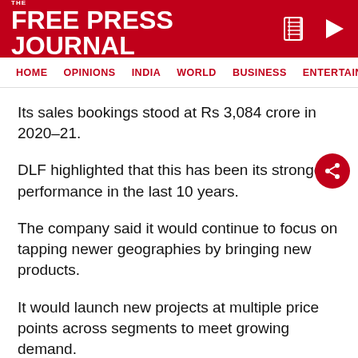THE FREE PRESS JOURNAL
HOME  OPINIONS  INDIA  WORLD  BUSINESS  ENTERTAIN
Its sales bookings stood at Rs 3,084 crore in 2020–21.
DLF highlighted that this has been its strongest performance in the last 10 years.
The company said it would continue to focus on tapping newer geographies by bringing new products.
It would launch new projects at multiple price points across segments to meet growing demand.
ADVERTISEMENT